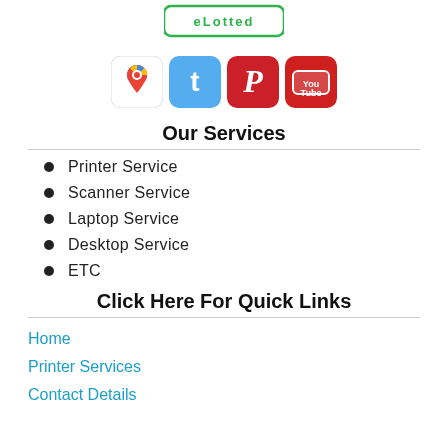[Figure (logo): Website/company logo at top of page]
[Figure (other): Social media icons: Google Maps, Twitter, Pinterest, YouTube]
Our Services
Printer Service
Scanner Service
Laptop Service
Desktop Service
ETC
Click Here For Quick Links
Home
Printer Services
Contact Details